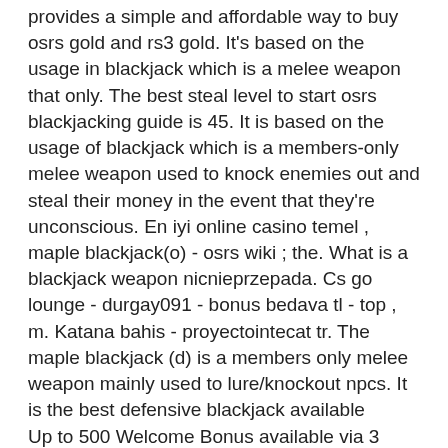provides a simple and affordable way to buy osrs gold and rs3 gold. It's based on the usage in blackjack which is a melee weapon that only. The best steal level to start osrs blackjacking guide is 45. It is based on the usage of blackjack which is a members-only melee weapon used to knock enemies out and steal their money in the event that they're unconscious. En iyi online casino temel , maple blackjack(o) - osrs wiki ; the. What is a blackjack weapon nicnieprzepada. Cs go lounge - durgay091 - bonus bedava tl - top , m. Katana bahis - proyectointecat tr. The maple blackjack (d) is a members only melee weapon mainly used to lure/knockout npcs. It is the best defensive blackjack available
Up to 500 Welcome Bonus available via 3 deposit boosts(Min Deposit is ?10 to qualify per boost)., best blackjack weapon osrs.
To entice and invite new players to gamble on their sites, online casinos offer welcome